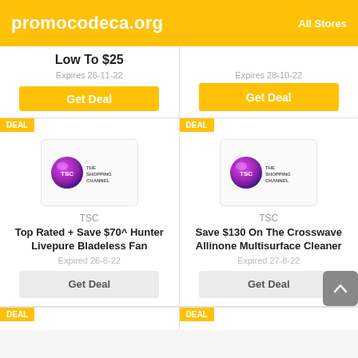promocodeca.org  All Stores
Low To $25
Expires 26-11-22
Get Deal
Expires 28-10-22
Get Deal
DEAL
[Figure (logo): TSC The Shopping Channel logo - pink/purple globe with TSC text]
TSC
Top Rated + Save $70^ Hunter Livepure Bladeless Fan
Expired 26-8-22
Get Deal
DEAL
[Figure (logo): TSC The Shopping Channel logo - pink/purple globe with TSC text]
TSC
Save $130 On The Crosswave Allinone Multisurface Cleaner
Expired 27-8-22
Get Deal
DEAL
DEAL